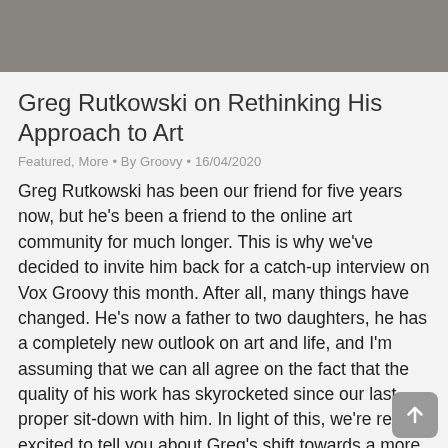[Figure (photo): Background artwork image, partially visible at top of page, dark tones with illustrated figures]
Greg Rutkowski on Rethinking His Approach to Art
Featured, More • By Groovy • 16/04/2020
Greg Rutkowski has been our friend for five years now, but he's been a friend to the online art community for much longer. This is why we've decided to invite him back for a catch-up interview on Vox Groovy this month. After all, many things have changed. He's now a father to two daughters, he has a completely new outlook on art and life, and I'm assuming that we can all agree on the fact that the quality of his work has skyrocketed since our last proper sit-down with him. In light of this, we're really excited to tell you about Greg's shift towards a more traditional, oil-on-canvas-like style, and we think he may have voiced a popular sentiment when he spoke